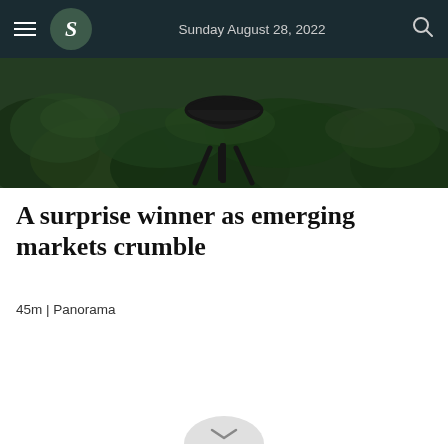Sunday August 28, 2022
[Figure (photo): Outdoor barbecue grill on green grass/foliage background, dark tones]
A surprise winner as emerging markets crumble
45m | Panorama